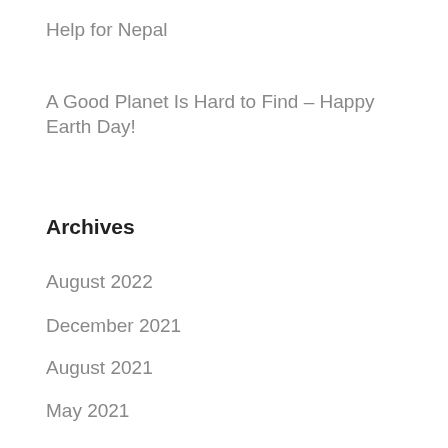Help for Nepal
A Good Planet Is Hard to Find – Happy Earth Day!
Archives
August 2022
December 2021
August 2021
May 2021
April 2021
December 2020
November 2020